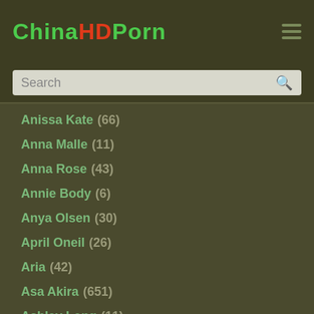ChinaHDPorn
Anissa Kate (66)
Anna Malle (11)
Anna Rose (43)
Annie Body (6)
Anya Olsen (30)
April Oneil (26)
Aria (42)
Asa Akira (651)
Ashley Long (11)
Ashley Love (7)
Aubrey Addams (12)
Audrey Elson (6)
August Ames (30)